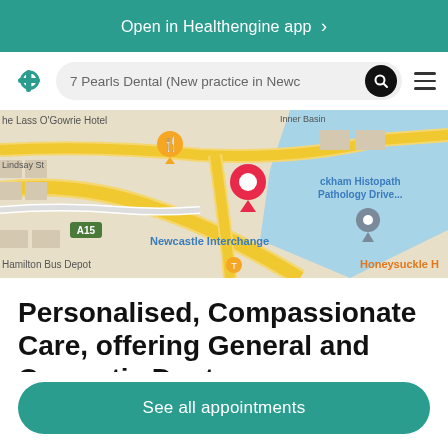Open in Healthengine app >
7 Pearls Dental (New practice in Newc...
[Figure (map): Google Maps screenshot showing Newcastle area, with a red pin marker near Newcastle Interchange, an orange restaurant marker near Lass O'Gowrie Hotel, and a grey location pin near Honeysuckle. Labels: 'he Lass O'Gowrie Hotel', 'Lindsay St', 'A15', 'Newcastle Interchange', 'Hamilton Bus Depot', 'Inner Basin', 'ckham Histopath Pathology Drive...', 'Honeysuckle H']
Personalised, Compassionate Care, offering General and Cosmetic Dent...
See all appointments